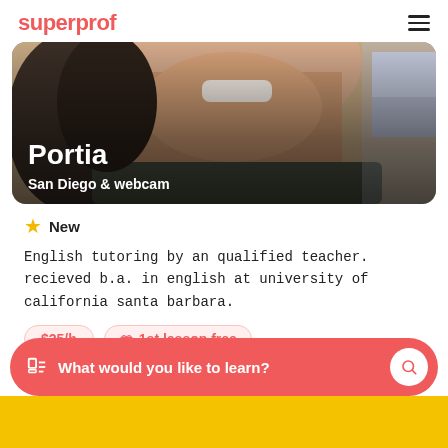superprof
[Figure (photo): Profile photo of tutor Portia, showing her smiling face and neck area, with text overlay showing name 'Portia' and location 'San Diego & webcam']
New
English tutoring by an qualified teacher. recieved b.a. in english at university of california santa barbara.
$25/h
1st lesson free
What would you like to learn?